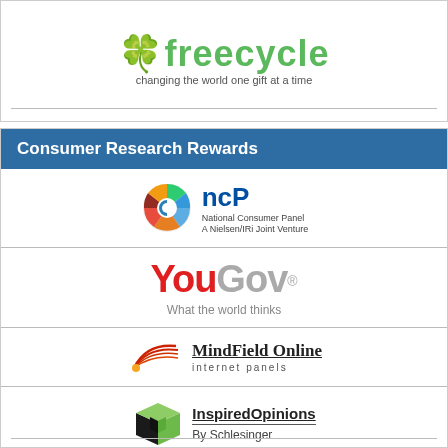[Figure (logo): Freecycle logo with green text and tagline 'changing the world one gift at a time']
Consumer Research Rewards
[Figure (logo): NCP National Consumer Panel - A Nielsen/IRi Joint Venture logo with colorful wheel icon]
[Figure (logo): YouGov logo - 'You' in red, 'Gov' in grey, tagline 'What the world thinks']
[Figure (logo): MindField Online internet panels logo with swoosh graphic]
[Figure (logo): InspiredOpinions By Schlesinger logo with green and black cube icon]